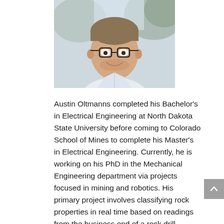[Figure (photo): Headshot photo of Austin Oltmanns, a young man with glasses, light beard, wearing a plaid/striped button-up shirt, smiling, with an outdoor blurred background.]
Austin Oltmanns completed his Bachelor's in Electrical Engineering at North Dakota State University before coming to Colorado School of Mines to complete his Master's in Electrical Engineering. Currently, he is working on his PhD in the Mechanical Engineering department via projects focused in mining and robotics. His primary project involves classifying rock properties in real time based on readings from the business end of a rock drill. Auxiliary projects concern ground vehicle control.